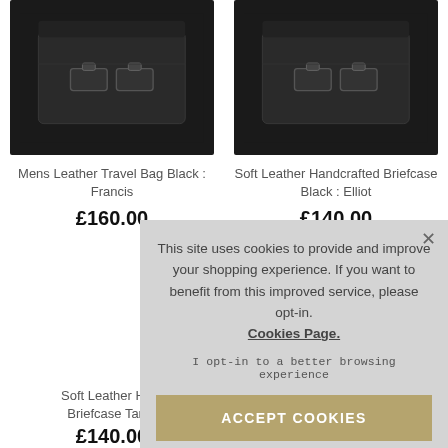[Figure (photo): Mens Leather Travel Bag Black - Francis product photo on dark background]
Mens Leather Travel Bag Black : Francis
£160.00
[Figure (photo): Soft Leather Handcrafted Briefcase Black - Elliot product photo on dark background]
Soft Leather Handcrafted Briefcase Black : Elliot
£140.00
This site uses cookies to provide and improve your shopping experience. If you want to benefit from this improved service, please opt-in.
Cookies Page.
I opt-in to a better browsing experience
ACCEPT COOKIES
Soft Leather Ha... Briefcase Tan...
£140.00
£130.00